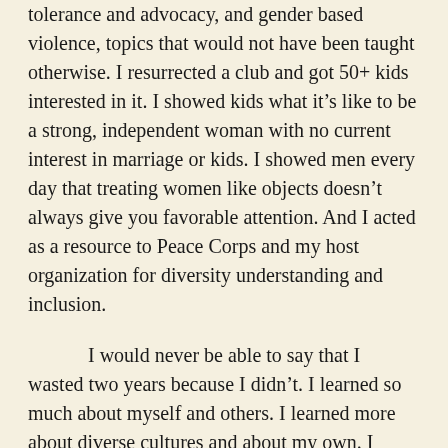tolerance and advocacy, and gender based violence, topics that would not have been taught otherwise. I resurrected a club and got 50+ kids interested in it. I showed kids what it's like to be a strong, independent woman with no current interest in marriage or kids. I showed men every day that treating women like objects doesn't always give you favorable attention. And I acted as a resource to Peace Corps and my host organization for diversity understanding and inclusion.

I would never be able to say that I wasted two years because I didn't. I learned so much about myself and others. I learned more about diverse cultures and about my own. I taught others and myself how to be strong and independent. I changed my career paths (a few times) and started to recognize my true passions. My two years in Peace Corps were two of the hardest years of my life and I am absolutely ready to be done with my service, but I will always cherish this time as one of the biggest learning